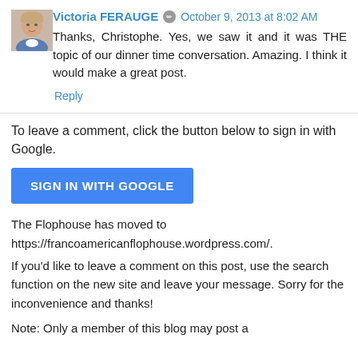[Figure (photo): Avatar photo of Victoria FERAUGE, a woman with light hair]
Victoria FERAUGE ✏ October 9, 2013 at 8:02 AM
Thanks, Christophe. Yes, we saw it and it was THE topic of our dinner time conversation. Amazing. I think it would make a great post.
Reply
To leave a comment, click the button below to sign in with Google.
[Figure (other): Blue button labeled SIGN IN WITH GOOGLE]
The Flophouse has moved to
https://francoamericanflophouse.wordpress.com/.
If you'd like to leave a comment on this post, use the search function on the new site and leave your message. Sorry for the inconvenience and thanks!
Note: Only a member of this blog may post a